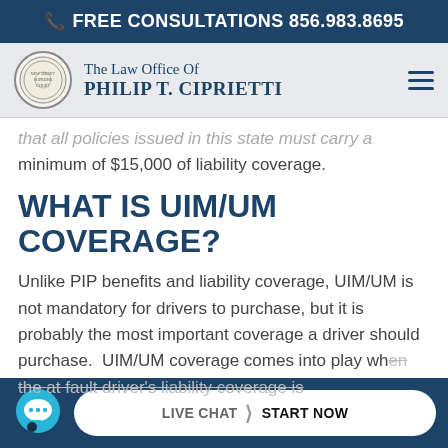FREE CONSULTATIONS 856.983.8695
The Law Office Of PHILIP T. CIPRIETTI
that all policies issued in this state must carry a minimum of $15,000 of liability coverage.
WHAT IS UIM/UM COVERAGE?
Unlike PIP benefits and liability coverage, UIM/UM is not mandatory for drivers to purchase, but it is probably the most important coverage a driver should purchase.  UIM/UM coverage comes into play when the at fault driver's liability coverage is
LIVE CHAT  START NOW